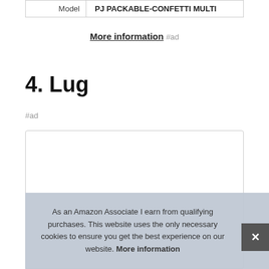| Model | PJ PACKABLE-CONFETTI MULTI |
More information #ad
4. Lug
#ad
As an Amazon Associate I earn from qualifying purchases. This website uses the only necessary cookies to ensure you get the best experience on our website. More information